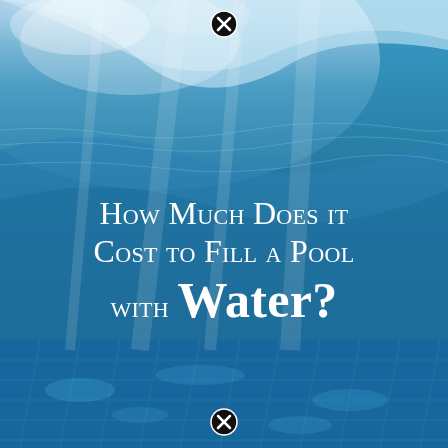[Figure (photo): Underwater view of a swimming pool showing blue water, rippling light reflections on the tiled pool floor, and the water surface above with sky visible through the water.]
How Much Does it Cost to Fill a Pool with Water?